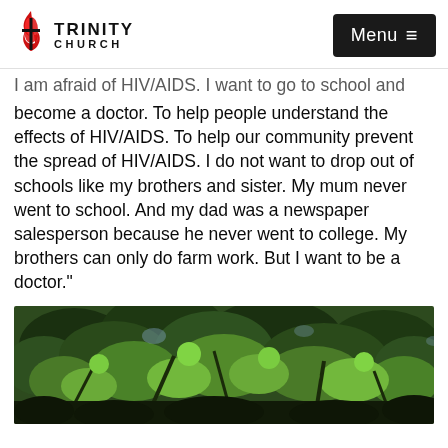TRINITY CHURCH | Menu
I am afraid of HIV/AIDS. I want to go to school and become a doctor. To help people understand the effects of HIV/AIDS. To help our community prevent the spread of HIV/AIDS. I do not want to drop out of schools like my brothers and sister. My mum never went to school. And my dad was a newspaper salesperson because he never went to college. My brothers can only do farm work. But I want to be a doctor."
[Figure (photo): Outdoor photo of dense green tree foliage and branches, photographed from below looking up.]